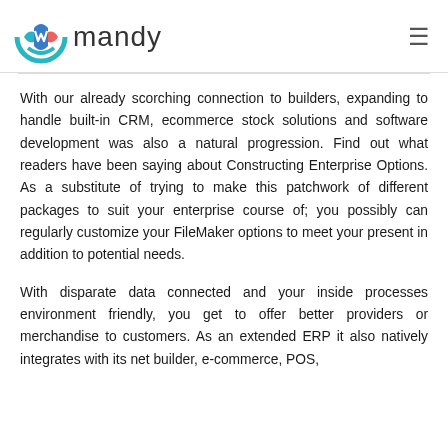Mandy (logo)
With our already scorching connection to builders, expanding to handle built-in CRM, ecommerce stock solutions and software development was also a natural progression. Find out what readers have been saying about Constructing Enterprise Options. As a substitute of trying to make this patchwork of different packages to suit your enterprise course of; you possibly can regularly customize your FileMaker options to meet your present in addition to potential needs.
With disparate data connected and your inside processes environment friendly, you get to offer better providers or merchandise to customers. As an extended ERP it also natively integrates with its net builder, e-commerce, POS,